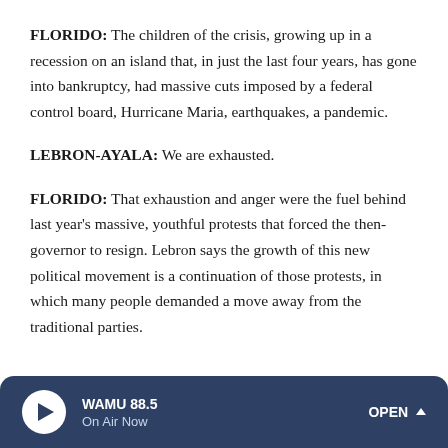FLORIDO: The children of the crisis, growing up in a recession on an island that, in just the last four years, has gone into bankruptcy, had massive cuts imposed by a federal control board, Hurricane Maria, earthquakes, a pandemic.
LEBRON-AYALA: We are exhausted.
FLORIDO: That exhaustion and anger were the fuel behind last year's massive, youthful protests that forced the then-governor to resign. Lebron says the growth of this new political movement is a continuation of those protests, in which many people demanded a move away from the traditional parties.
WAMU 88.5 On Air Now OPEN